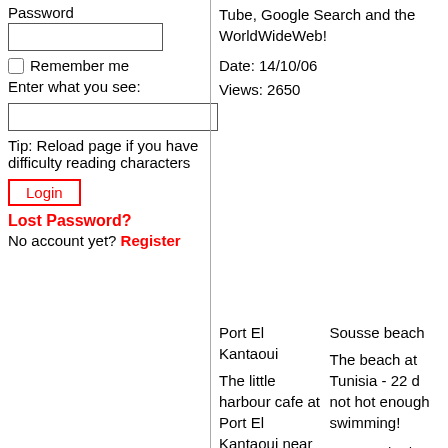Password
Remember me
Enter what you see:
Tip: Reload page if you have difficulty reading characters
Login
Lost Password?
No account yet? Register
Tube, Google Search and the WorldWideWeb!
Date: 14/10/06
Views: 2650
Port El Kantaoui
Sousse beach
The little harbour cafe at Port El Kantaoui near my hotel
The beach at Tunisia - 22 d not hot enough swimming!
Date: 11/02/07
Views: 2474
Date: 11/02/0
Views: 2462